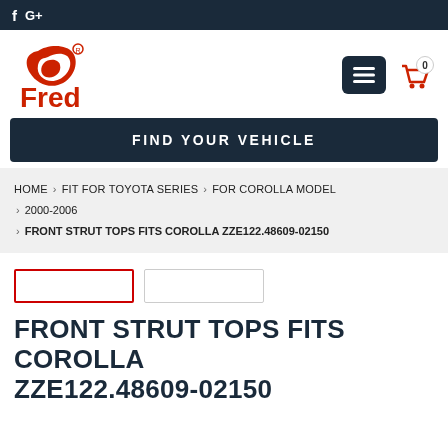f G+
[Figure (logo): Fred brand logo with red stylized eagle/wing icon and 'Fred' text in red]
FIND YOUR VEHICLE
HOME › FIT FOR TOYOTA SERIES › FOR COROLLA MODEL › 2000-2006 › FRONT STRUT TOPS FITS COROLLA ZZE122.48609-02150
FRONT STRUT TOPS FITS COROLLA ZZE122.48609-02150